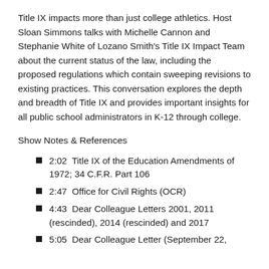Title IX impacts more than just college athletics. Host Sloan Simmons talks with Michelle Cannon and Stephanie White of Lozano Smith's Title IX Impact Team about the current status of the law, including the proposed regulations which contain sweeping revisions to existing practices. This conversation explores the depth and breadth of Title IX and provides important insights for all public school administrators in K-12 through college.
Show Notes & References
2:02  Title IX of the Education Amendments of 1972; 34 C.F.R. Part 106
2:47  Office for Civil Rights (OCR)
4:43  Dear Colleague Letters 2001, 2011 (rescinded), 2014 (rescinded) and 2017
5:05  Dear Colleague Letter (September 22,